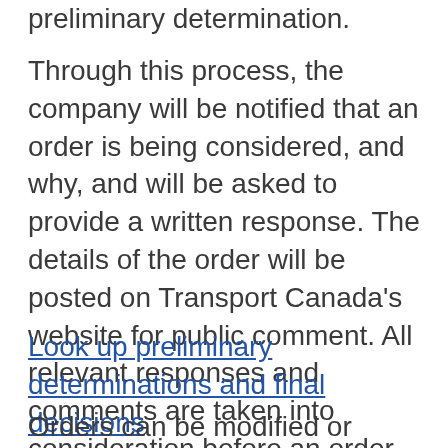preliminary determination.
Through this process, the company will be notified that an order is being considered, and why, and will be asked to provide a written response. The details of the order will be posted on Transport Canada's website for public comment. All relevant responses and comments are taken into consideration before an order is issued through a final decision.
Look up preliminary determinations and final decisions
Orders can be modified or revoked based